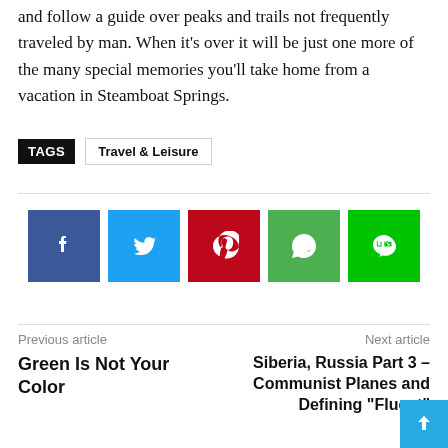and follow a guide over peaks and trails not frequently traveled by man. When it’s over it will be just one more of the many special memories you’ll take home from a vacation in Steamboat Springs.
TAGS   Travel & Leisure
[Figure (infographic): Row of five social media share buttons: Facebook (dark blue), Twitter (light blue), Pinterest (red), WhatsApp (green), Line (bright green)]
Previous article
Green Is Not Your Color
Next article
Siberia, Russia Part 3 – Communist Planes and Defining “Fluent”